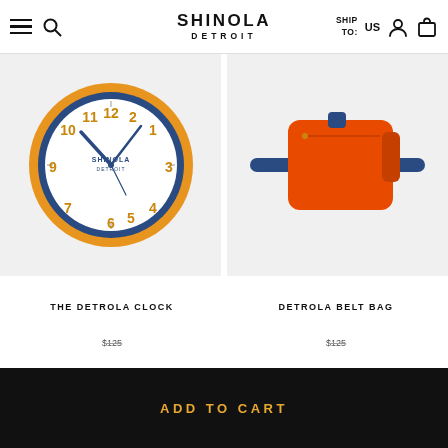SHINOLA DETROIT — SHIP TO: US
[Figure (photo): Analog wall/alarm clock with orange outer ring, blue inner ring, white face, gold numerals and blue hands, Shinola Detroit branding on face]
[Figure (photo): Orange nylon belt bag / fanny pack with navy blue strap and zipper details]
THE DETROLA CLOCK
DETROLA BELT BAG
$125
$125
ADD TO CART